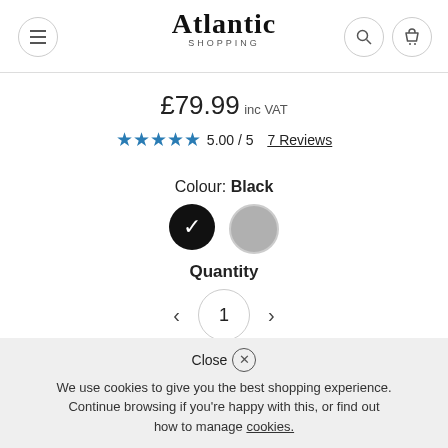Atlantic Shopping
£79.99 inc VAT
5.00 / 5   7 Reviews
Colour: Black
Quantity
1
Add to Basket
Close
We use cookies to give you the best shopping experience. Continue browsing if you're happy with this, or find out how to manage cookies.